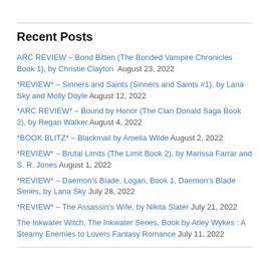Recent Posts
ARC REVIEW – Bond Bitten (The Bonded Vampire Chronicles Book 1), by Christie Clayton  August 23, 2022
*REVIEW* – Sinners and Saints (Sinners and Saints #1), by Lana Sky and Molly Doyle  August 12, 2022
*ARC REVIEW* – Bound by Honor (The Clan Donald Saga Book 2), by Regan Walker  August 4, 2022
*BOOK BLITZ* – Blackmail by Amelia Wilde  August 2, 2022
*REVIEW* – Brutal Limits (The Limit Book 2), by Marissa Farrar and S. R. Jones  August 1, 2022
*REVIEW* – Daemon's Blade, Logan, Book 1, Daemon's Blade Series, by Lana Sky  July 28, 2022
*REVIEW* – The Assassin's Wife, by Nikita Slater  July 21, 2022
The Inkwater Witch, The Inkwater Series, Book by Atley Wykes : A Steamy Enemies to Lovers Fantasy Romance  July 11, 2022